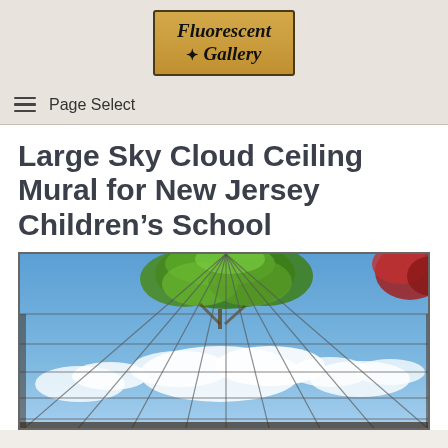[Figure (logo): Fluorescent Gallery logo in a gold/tan bordered box with compass rose icon and italic serif text]
≡ Page Select
Large Sky Cloud Ceiling Mural for New Jersey Children's School
[Figure (photo): Photo of a large ceiling mural installed in grid panels, showing blue sky with white clouds and green tree foliage, viewed from below]